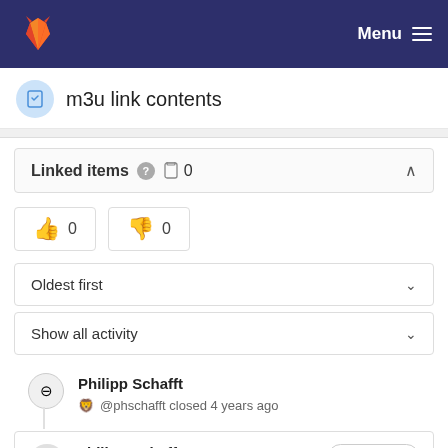Menu
m3u link contents
Linked items 0
👍 0  👎 0
Oldest first
Show all activity
Philipp Schafft
@phschafft closed 4 years ago
Philipp Schafft
@phschafft 4 years ago
Maintainer